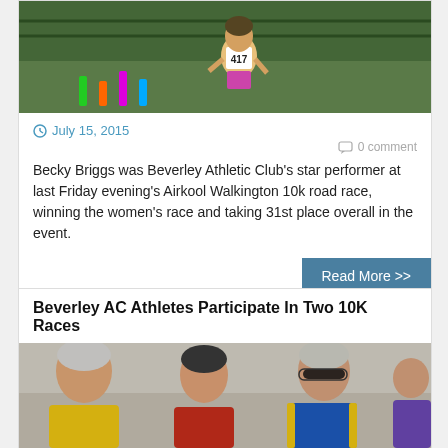[Figure (photo): Runner wearing bib number 417 at a race event with colorful equipment visible]
July 15, 2015
0 comment
Becky Briggs was Beverley Athletic Club's star performer at last Friday evening's Airkool Walkington 10k road race, winning the women's race and taking 31st place overall in the event.
Read More >>
Beverley AC Athletes Participate In Two 10K Races
[Figure (photo): Three male runners in athletic vests (yellow, red/black, blue with yellow stripes) running in a road race, with a fourth runner partly visible on the right]